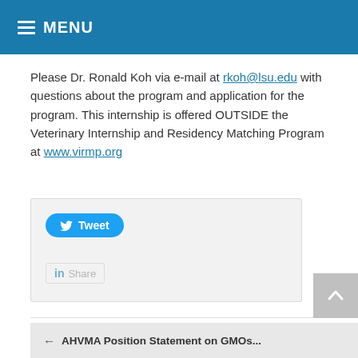Menu
Please Dr. Ronald Koh via e-mail at rkoh@lsu.edu with questions about the program and application for the program. This internship is offered OUTSIDE the Veterinary Internship and Residency Matching Program at www.virmp.org
[Figure (screenshot): Social sharing widget with a Tweet button and a LinkedIn Share button on a light grey background]
← AHVMA Position Statement on GMOs...